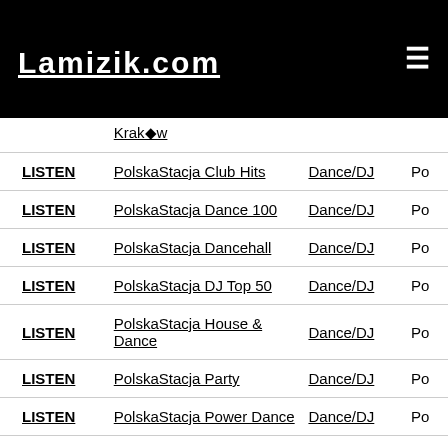Lamizik.com
|  | Name | Genre |  |
| --- | --- | --- | --- |
|  | Kraków |  |  |
| LISTEN | PolskaStacja Club Hits | Dance/DJ | Po |
| LISTEN | PolskaStacja Dance 100 | Dance/DJ | Po |
| LISTEN | PolskaStacja Dancehall | Dance/DJ | Po |
| LISTEN | PolskaStacja DJ Top 50 | Dance/DJ | Po |
| LISTEN | PolskaStacja House & Dance | Dance/DJ | Po |
| LISTEN | PolskaStacja Party | Dance/DJ | Po |
| LISTEN | PolskaStacja Power Dance | Dance/DJ | Po |
| LISTEN | PolskaStacja Trax | Dance/DJ | Po |